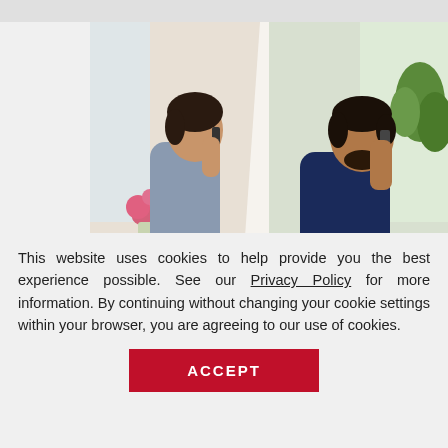[Figure (photo): Two people talking on phones. Left side: a woman with short dark hair in a gray top, sitting on a sofa near pink flowers, looking upward while on the phone. Right side: a man with short dark hair and beard in a dark blue shirt, smiling while talking on the phone and looking at a tablet. Background shows a bright indoor setting with plants.]
RECOMMEND
SIR GR
Request a Free
This website uses cookies to help provide you the best experience possible. See our Privacy Policy for more information. By continuing without changing your cookie settings within your browser, you are agreeing to our use of cookies.
ACCEPT